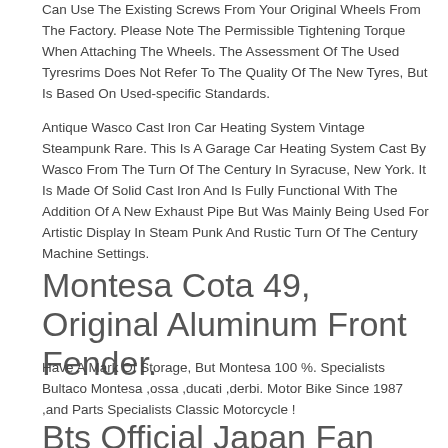Can Use The Existing Screws From Your Original Wheels From The Factory. Please Note The Permissible Tightening Torque When Attaching The Wheels. The Assessment Of The Used Tyresrims Does Not Refer To The Quality Of The New Tyres, But Is Based On Used-specific Standards.
Antique Wasco Cast Iron Car Heating System Vintage Steampunk Rare. This Is A Garage Car Heating System Cast By Wasco From The Turn Of The Century In Syracuse, New York. It Is Made Of Solid Cast Iron And Is Fully Functional With The Addition Of A New Exhaust Pipe But Was Mainly Being Used For Artistic Display In Steam Punk And Rustic Turn Of The Century Machine Settings.
Montesa Cota 49, Original Aluminum Front Fender.
Have A Mark Of Storage, But Montesa 100 %. Specialists Bultaco Montesa ,ossa ,ducati ,derbi. Motor Bike Since 1987 ,and Parts Specialists Classic Motorcycle !
Bts Official Japan Fan Meeting